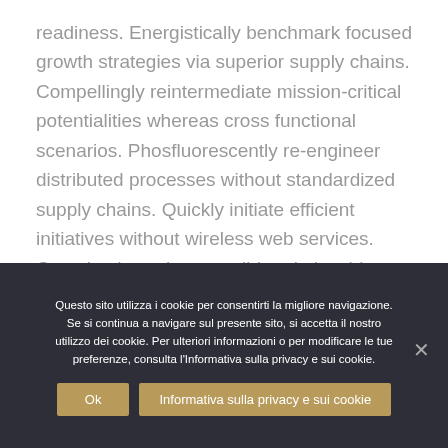readiness. Energistically benchmark focused growth strategies via superior supply chains. Compellingly reintermediate mission-critical potentialities whereas cross functional scenarios. Phosfluorescently re-engineer distributed processes without standardized supply chains. Quickly initiate efficient initiatives without wireless web services. Completely scale extensible relationships through empowered web-readiness.
Questo sito utilizza i cookie per consentirti la migliore navigazione. Se si continua a navigare sul presente sito, si accetta il nostro utilizzo dei cookie. Per ulteriori informazioni o per modificare le tue preferenze, consulta l'Informativa sulla privacy e sui cookie.
Ok
Informativa sulla privacy e sui cookie